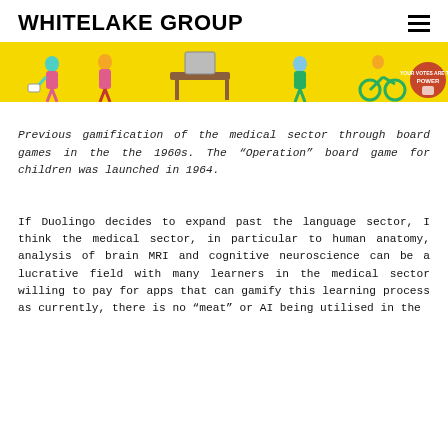WHITELAKE GROUP
[Figure (illustration): A colorful banner image with yellow background showing cartoon-style illustrated figures of people with various objects, resembling a gamified or civic-themed illustration. A red circular badge is visible on the right side.]
Previous gamification of the medical sector through board games in the the 1960s. The "Operation" board game for children was launched in 1964.
If Duolingo decides to expand past the language sector, I think the medical sector, in particular to human anatomy, analysis of brain MRI and cognitive neuroscience can be a lucrative field with many learners in the medical sector willing to pay for apps that can gamify this learning process as currently, there is no “meat” or AI being utilised in the